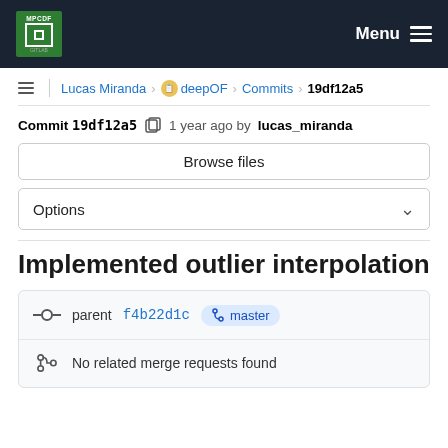MPCDF | Menu
Lucas Miranda > deepOF > Commits > 19df12a5
Commit 19df12a5  1 year ago by lucas_miranda
Browse files
Options
Implemented outlier interpolation
parent f4b22d1c  master
No related merge requests found